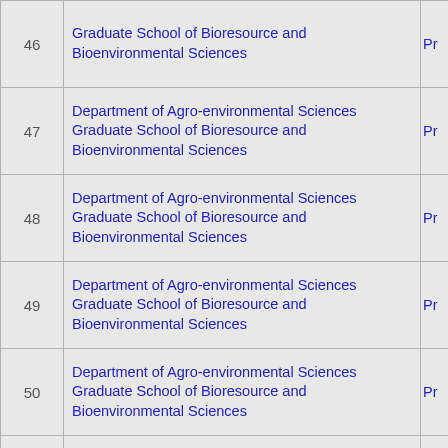| # | Department / School | Pr... |
| --- | --- | --- |
| 46 | Graduate School of Bioresource and Bioenvironmental Sciences | Pr |
| 47 | Department of Agro-environmental Sciences
Graduate School of Bioresource and Bioenvironmental Sciences | Pr |
| 48 | Department of Agro-environmental Sciences
Graduate School of Bioresource and Bioenvironmental Sciences | Pr |
| 49 | Department of Agro-environmental Sciences
Graduate School of Bioresource and Bioenvironmental Sciences | Pr |
| 50 | Department of Agro-environmental Sciences
Graduate School of Bioresource and Bioenvironmental Sciences | Pr |
| 51 | Department of Agro-environmental Sciences
Graduate School of Bioresource and Bioenvironmental Sciences | Pr |